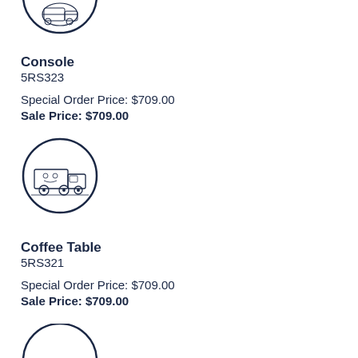[Figure (illustration): Circular icon with a cartoon delivery truck, partially visible at top of page]
Console
5RS323
Special Order Price: $709.00
Sale Price: $709.00
[Figure (illustration): Circular icon with a cartoon delivery truck]
Coffee Table
5RS321
Special Order Price: $709.00
Sale Price: $709.00
[Figure (illustration): Circular icon with a cartoon delivery truck, partially visible at bottom of page]